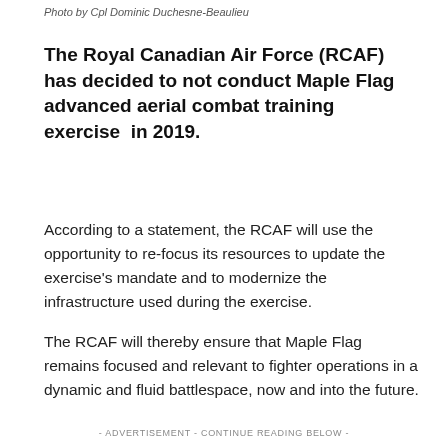Photo by Cpl Dominic Duchesne-Beaulieu
The Royal Canadian Air Force (RCAF) has decided to not conduct Maple Flag advanced aerial combat training exercise in 2019.
According to a statement, the RCAF will use the opportunity to re-focus its resources to update the exercise's mandate and to modernize the infrastructure used during the exercise.
The RCAF will thereby ensure that Maple Flag remains focused and relevant to fighter operations in a dynamic and fluid battlespace, now and into the future.
- ADVERTISEMENT - CONTINUE READING BELOW -